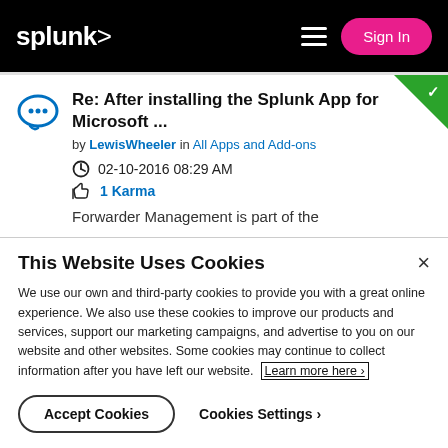Splunk — Sign In
Re: After installing the Splunk App for Microsoft ...
by LewisWheeler in All Apps and Add-ons
02-10-2016 08:29 AM
1 Karma
Forwarder Management is part of the
This Website Uses Cookies
We use our own and third-party cookies to provide you with a great online experience. We also use these cookies to improve our products and services, support our marketing campaigns, and advertise to you on our website and other websites. Some cookies may continue to collect information after you have left our website. Learn more here ›
Accept Cookies
Cookies Settings ›